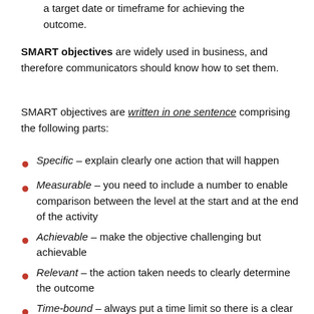a target date or timeframe for achieving the outcome.
SMART objectives are widely used in business, and therefore communicators should know how to set them.
SMART objectives are written in one sentence comprising the following parts:
Specific – explain clearly one action that will happen
Measurable – you need to include a number to enable comparison between the level at the start and at the end of the activity
Achievable – make the objective challenging but achievable
Relevant – the action taken needs to clearly determine the outcome
Time-bound – always put a time limit so there is a clear finishing point